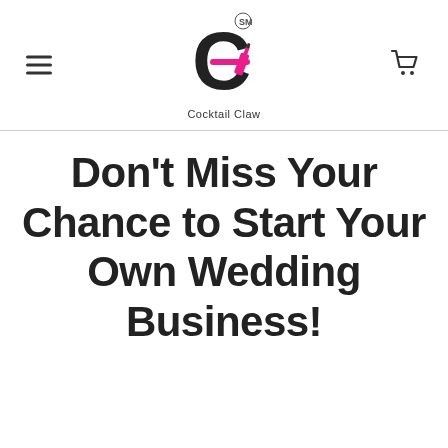[Figure (logo): Cocktail Claw logo with stylized C, pink wine bottle, and SM service mark, with text 'Cocktail Claw' below]
Don't Miss Your Chance to Start Your Own Wedding Business!